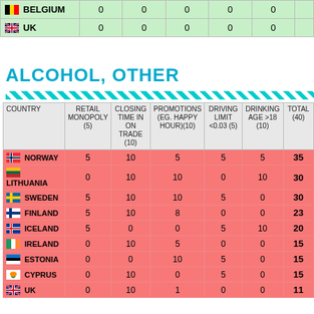| COUNTRY |  |  |  |  |  |
| --- | --- | --- | --- | --- | --- |
| BELGIUM | 0 | 0 | 0 | 0 | 0 |
| UK | 0 | 0 | 0 | 0 | 0 |
ALCOHOL, OTHER
| COUNTRY | RETAIL MONOPOLY (5) | CLOSING TIME IN ON TRADE (10) | PROMOTIONS (EG. HAPPY HOUR)(10) | DRIVING LIMIT <0.03 (5) | DRINKING AGE >18 (10) | TOTAL (40) |
| --- | --- | --- | --- | --- | --- | --- |
| NORWAY | 5 | 10 | 5 | 5 | 5 | 35 |
| LITHUANIA | 0 | 10 | 10 | 0 | 10 | 30 |
| SWEDEN | 5 | 10 | 10 | 5 | 0 | 30 |
| FINLAND | 5 | 10 | 8 | 0 | 0 | 23 |
| ICELAND | 5 | 0 | 0 | 5 | 10 | 20 |
| IRELAND | 0 | 10 | 5 | 0 | 0 | 15 |
| ESTONIA | 0 | 0 | 10 | 5 | 0 | 15 |
| CYPRUS | 0 | 10 | 0 | 5 | 0 | 15 |
| UK | 0 | 10 | 1 | 0 | 0 | 11 |